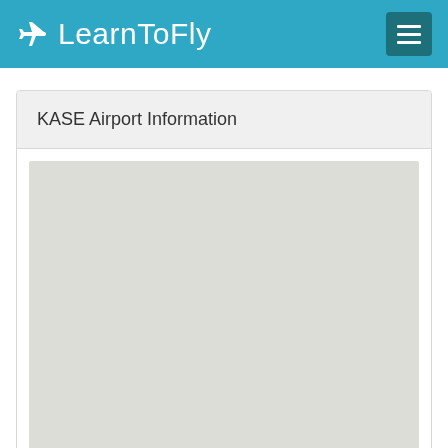✈ LearnToFly
KASE Airport Information
[Figure (map): Blank/loading map placeholder for KASE airport location]